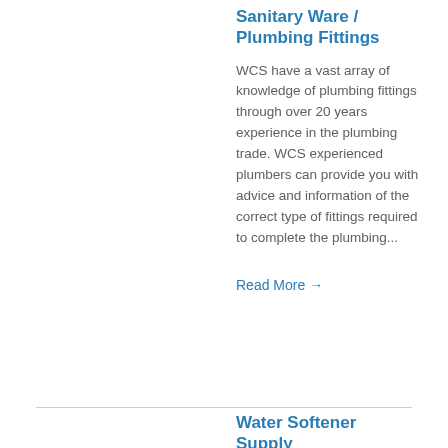Sanitary Ware / Plumbing Fittings
WCS have a vast array of knowledge of plumbing fittings through over 20 years experience in the plumbing trade. WCS experienced plumbers can provide you with advice and information of the correct type of fittings required to complete the plumbing...
Read More →
Water Softener Supply